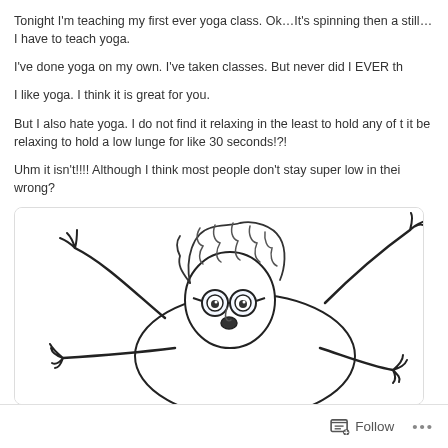Tonight I'm teaching my first ever yoga class. Ok…It's spinning then a still…I have to teach yoga.
I've done yoga on my own. I've taken classes. But never did I EVER th
I like yoga. I think it is great for you.
But I also hate yoga. I do not find it relaxing in the least to hold any of t it be relaxing to hold a low lunge for like 30 seconds!?!
Uhm it isn't!!!! Although I think most people don't stay super low in thei wrong?
[Figure (illustration): Black and white cartoon illustration of a curly-haired woman with glasses lying on her back with arms and legs spread out, appearing to be struggling with a yoga pose. She has a surprised/distressed expression.]
Follow ...